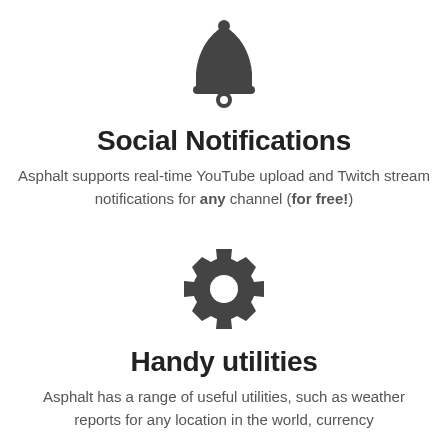[Figure (illustration): Bell icon, dark gray, centered at top of page]
Social Notifications
Asphalt supports real-time YouTube upload and Twitch stream notifications for any channel (for free!)
[Figure (illustration): Gear/settings icon, dark gray, centered in middle of page]
Handy utilities
Asphalt has a range of useful utilities, such as weather reports for any location in the world, currency